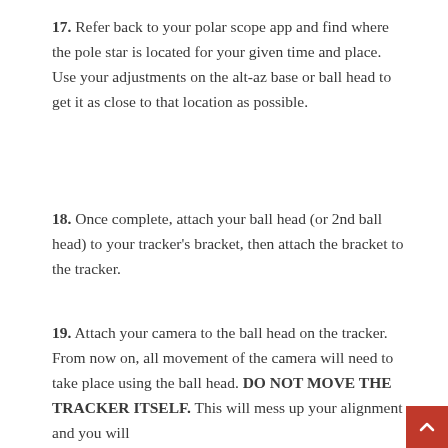17. Refer back to your polar scope app and find where the pole star is located for your given time and place. Use your adjustments on the alt-az base or ball head to get it as close to that location as possible.
18. Once complete, attach your ball head (or 2nd ball head) to your tracker's bracket, then attach the bracket to the tracker.
19. Attach your camera to the ball head on the tracker. From now on, all movement of the camera will need to take place using the ball head. DO NOT MOVE THE TRACKER ITSELF. This will mess up your alignment and you will